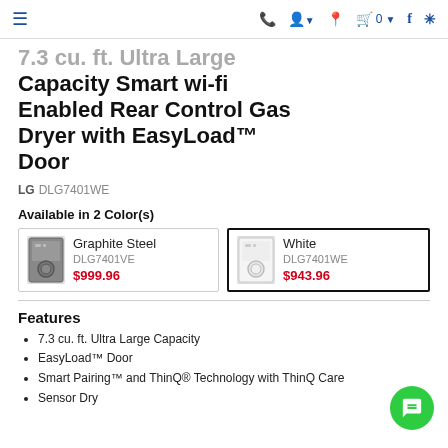Navigation bar with menu, phone, account, location, cart (0), Facebook, Yelp icons
7.3 cu. ft. Ultra Large Capacity Smart wi-fi Enabled Rear Control Gas Dryer with EasyLoad™ Door
LG DLG7401WE
Available in 2 Color(s)
| Color | SKU | Price |
| --- | --- | --- |
| Graphite Steel | DLG7401VE | $999.96 |
| White | DLG7401WE | $943.96 |
Features
7.3 cu. ft. Ultra Large Capacity
EasyLoad™ Door
Smart Pairing™ and ThinQ® Technology with ThinQ Care
Sensor Dry